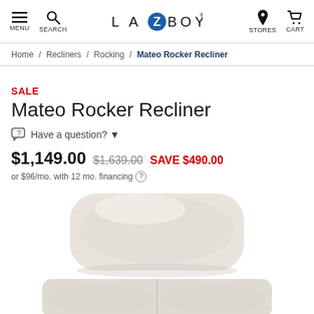MENU  SEARCH  LA-Z-BOY  STORES  CART
Home / Recliners / Rocking / Mateo Rocker Recliner
SALE
Mateo Rocker Recliner
Have a question?
$1,149.00  $1,639.00  SAVE $490.00
or $96/mo. with 12 mo. financing
[Figure (photo): Top portion of a white/cream upholstered rocking recliner chair shown from above, with rounded cushioned headrest and seat visible against a white background.]